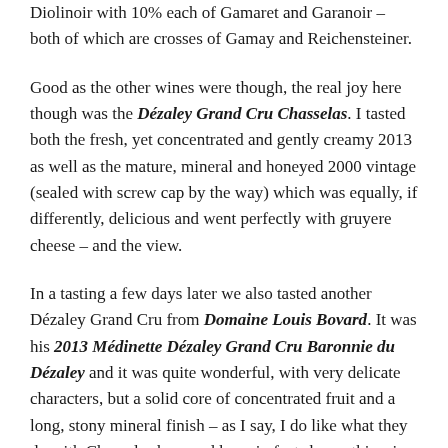Diolinoir with 10% each of Gamaret and Garanoir – both of which are crosses of Gamay and Reichensteiner.
Good as the other wines were though, the real joy here though was the Dézaley Grand Cru Chasselas. I tasted both the fresh, yet concentrated and gently creamy 2013 as well as the mature, mineral and honeyed 2000 vintage (sealed with screw cap by the way) which was equally, if differently, delicious and went perfectly with gruyere cheese – and the view.
In a tasting a few days later we also tasted another Dézaley Grand Cru from Domaine Louis Bovard. It was his 2013 Médinette Dézaley Grand Cru Baronnie du Dézaley and it was quite wonderful, with very delicate characters, but a solid core of concentrated fruit and a long, stony mineral finish – as I say, I do like what they do with Chasselas here and have in fact shown this wine at some tastings once I got back to the UK.